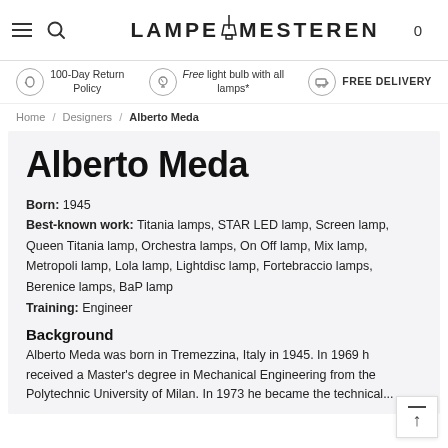LAMPEMESTEREN
100-Day Return Policy | Free light bulb with all lamps* | FREE DELIVERY
Home / Designers / Alberto Meda
Alberto Meda
Born: 1945
Best-known work: Titania lamps, STAR LED lamp, Screen lamp, Queen Titania lamp, Orchestra lamps, On Off lamp, Mix lamp, Metropoli lamp, Lola lamp, Lightdisc lamp, Fortebraccio lamps, Berenice lamps, BaP lamp
Training: Engineer
Background
Alberto Meda was born in Tremezzina, Italy in 1945. In 1969 he received a Master's degree in Mechanical Engineering from the Polytechnic University of Milan. In 1973 he became the technical...